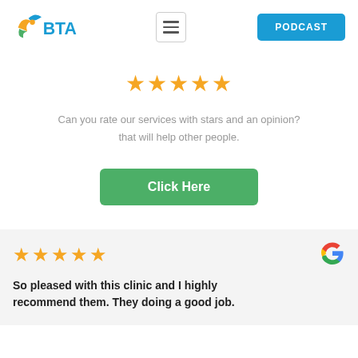[Figure (logo): BTA logo with yellow/green bird graphic and blue BTA text]
[Figure (screenshot): Hamburger menu icon button]
PODCAST
[Figure (infographic): Five orange/gold star rating icons]
Can you rate our services with stars and an opinion? that will help other people.
Click Here
★★★★★
[Figure (logo): Google G logo]
So pleased with this clinic and I highly recommend them. They doing a good job.